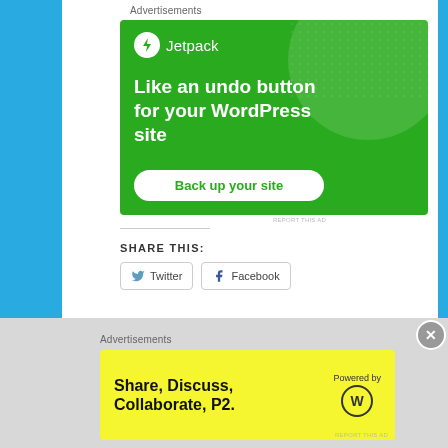Advertisements
[Figure (illustration): Jetpack advertisement banner on green background. Shows Jetpack logo and tagline 'Like an undo button for your WordPress site' with a 'Back up your site' button.]
REPORT THIS AD
SHARE THIS:
Twitter
Facebook
Advertisements
[Figure (illustration): P2 advertisement on yellow background. Shows 'Share, Discuss, Collaborate, P2.' text with 'Powered by' WordPress logo.]
REPORT THIS AD